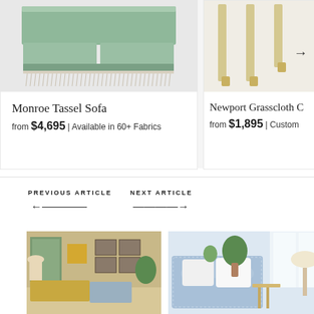[Figure (photo): Monroe Tassel Sofa product image - green velvet sofa with cream tassel fringe trim, partially visible]
Monroe Tassel Sofa
from $4,695 | Available in 60+ Fabrics
[Figure (photo): Newport Grasscloth product - partially visible, showing legs with gold/brass tips on light background]
Newport Grasscloth C...
from $1,895 | Custom...
PREVIOUS ARTICLE
NEXT ARTICLE
[Figure (photo): Previous article thumbnail - colorful living room interior with green botanical artwork, yellow art piece, rattan furniture, blue sofa]
[Figure (photo): Next article thumbnail - bright living room with blue and white patterned slipcovered chairs, white pillows, potted plants on side table]